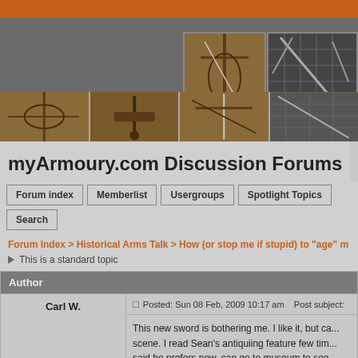[Figure (screenshot): myArmoury.com website header with orange bar, gray background, and sword images strip]
myArmoury.com Discussion Forums
Forum index
Memberlist
Usergroups
Spotlight Topics
Search
Forum Index > Historical Arms Talk > How (or stop me if stupid) to "age" m
This is a standard topic
| Author | Post |
| --- | --- |
| Carl W. | Posted: Sun 08 Feb, 2009 10:17 am    Post subject:
This new sword is bothering me. I like it, but ca... scene. I read Sean's antiquiing feature few tim... said he prefers new, can go to museum to see... advice is not really applicable. |
| Location: usa
Joined: 07 Aug 2008
Posts: 175 |  |